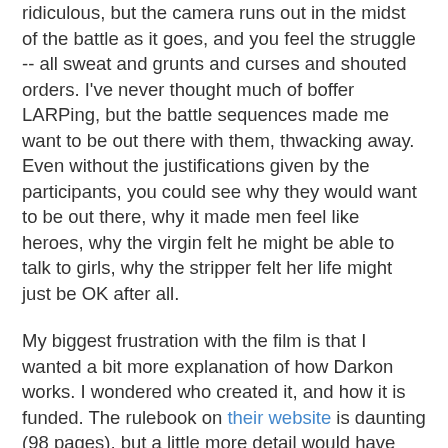ridiculous, but the camera runs out in the midst of the battle as it goes, and you feel the struggle -- all sweat and grunts and curses and shouted orders. I've never thought much of boffer LARPing, but the battle sequences made me want to be out there with them, thwacking away. Even without the justifications given by the participants, you could see why they would want to be out there, why it made men feel like heroes, why the virgin felt he might be able to talk to girls, why the stripper felt her life might just be OK after all.
My biggest frustration with the film is that I wanted a bit more explanation of how Darkon works. I wondered who created it, and how it is funded. The rulebook on their website is daunting (98 pages), but a little more detail would have been nice. How are countries formed? Who determines which side has won a battle? They obviously have some kind of in-game economy -- how does that work? What about this language the dark elves speak? How developed is that? I felt that the film needed more of the nuts & bolts.
I do recommend Darkon, but the film is not without its weaknesses. If you are into boffer LARPing, you might take